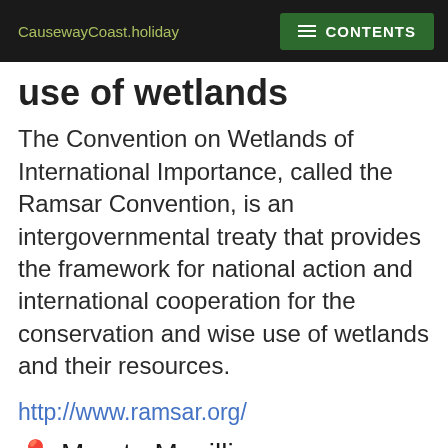CausewayCoast.holiday | CONTENTS
use of wetlands
The Convention on Wetlands of International Importance, called the Ramsar Convention, is an intergovernmental treaty that provides the framework for national action and international cooperation for the conservation and wise use of wetlands and their resources.
http://www.ramsar.org/
📍 Map to Magilligan:
Tap the markers for information or pinch and zoom to move around the...